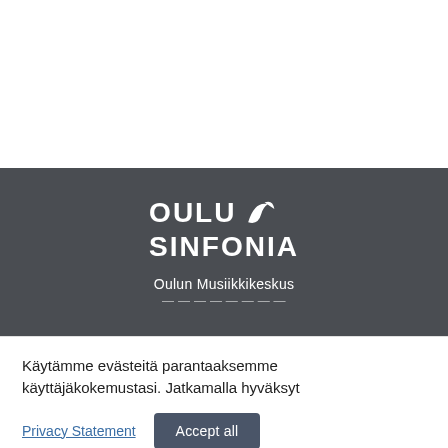[Figure (logo): Oulu Sinfonia logo with stylized wing icon on dark grey banner background, with text 'Oulun Musiikkikeskus' below]
Käytämme evästeitä parantaaksemme käyttäjäkokemustasi. Jatkamalla hyväksyt
Privacy Statement
Accept all